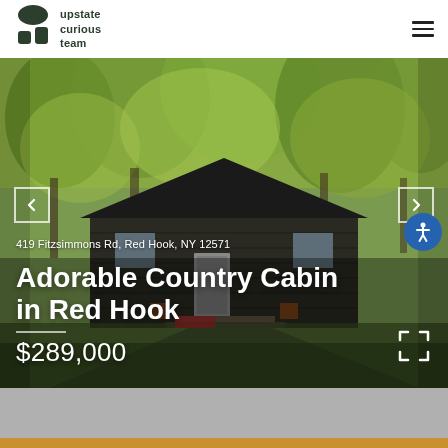upstate curious team
[Figure (photo): Exterior photo of a dark wood country cabin surrounded by lush green trees, with a driveway in front and outdoor chairs on a small porch. Overlaid text shows address, property title, and price.]
419 Fitzsimmons Rd, Red Hook, NY 12571
Adorable Country Cabin in Red Hook
$289,000